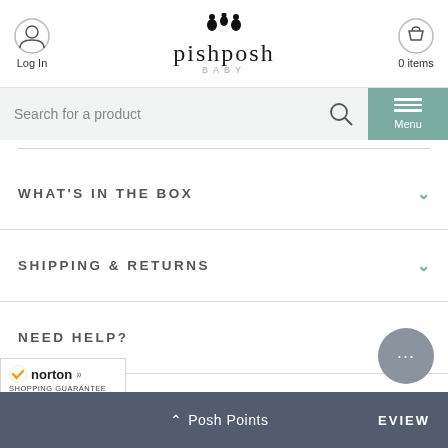[Figure (screenshot): PishPosh Baby website header with logo, login icon, cart icon, search bar, and menu button]
WHAT'S IN THE BOX
SHIPPING & RETURNS
NEED HELP?
[Figure (logo): Norton Shopping Guarantee badge, dated 9/2/2022]
Posh Points   EVIEW